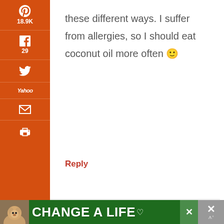these different ways. I suffer from allergies, so I should eat coconut oil more often 🙂
Reply
KARIN @MOMMY'S PARADISE SAYS
January 7, 2012 at 11:18 AM
[Figure (infographic): Ad banner at bottom: green background with dog photo and text CHANGE A LIFE]
19.0K SHARES